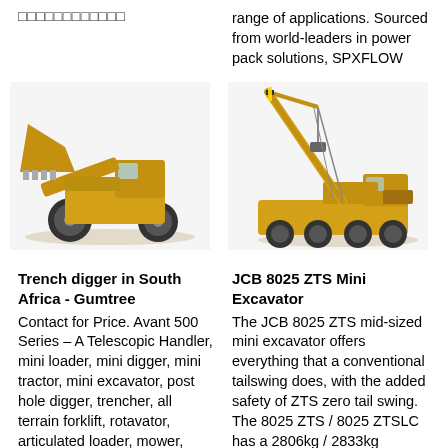□□□□□□□□□□□□
range of applications. Sourced from world-leaders in power pack solutions, SPXFLOW
[Figure (photo): Yellow front-end loader / wheel loader with bucket raised, viewed from the side]
[Figure (photo): Yellow mobile crane with extended boom, viewed from the side]
Trench digger in South Africa - Gumtree
Contact for Price. Avant 500 Series – A Telescopic Handler, mini loader, mini digger, mini tractor, mini excavator, post hole digger, trencher, all terrain forklift, rotavator, articulated loader, mower, sweeper, front end loader, hauling and
JCB 8025 ZTS Mini Excavator
The JCB 8025 ZTS mid-sized mini excavator offers everything that a conventional tailswing does, with the added safety of ZTS zero tail swing. The 8025 ZTS / 8025 ZTSLC has a 2806kg / 2833kg operating weight, meaning you can move it from site to site using low-cost